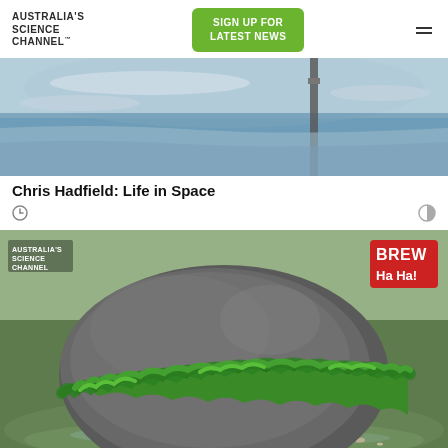AUSTRALIA'S SCIENCE CHANNEL™
[Figure (screenshot): Website header with Australia's Science Channel logo, green 'SIGN UP FOR LATEST NEWS' button, and hamburger menu icon]
[Figure (photo): Photo from Chris Hadfield: Life in Space — space station/sky view]
Chris Hadfield: Life in Space
[Figure (photo): Large rock covered in bright green algae/seaweed on a beach, with Australia's Science Channel watermark and BREW Ha Ha! logo overlay]